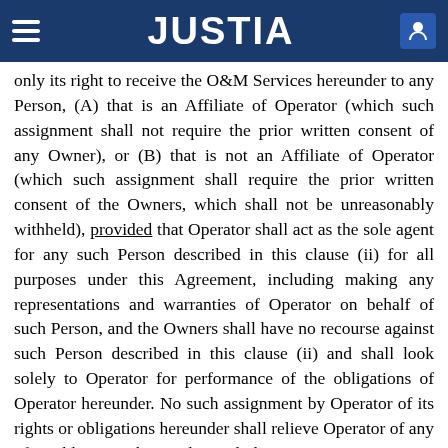JUSTIA
only its right to receive the O&M Services hereunder to any Person, (A) that is an Affiliate of Operator (which such assignment shall not require the prior written consent of any Owner), or (B) that is not an Affiliate of Operator (which such assignment shall require the prior written consent of the Owners, which shall not be unreasonably withheld), provided that Operator shall act as the sole agent for any such Person described in this clause (ii) for all purposes under this Agreement, including making any representations and warranties of Operator on behalf of such Person, and the Owners shall have no recourse against such Person described in this clause (ii) and shall look solely to Operator for performance of the obligations of Operator hereunder. No such assignment by Operator of its rights or obligations hereunder shall relieve Operator of any of its obligations hereunder, including any payment obligations